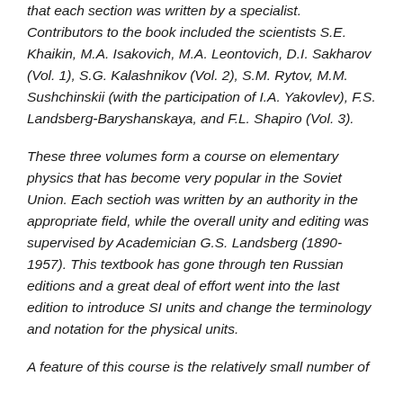that each section was written by a specialist. Contributors to the book included the scientists S.E. Khaikin, M.A. Isakovich, M.A. Leontovich, D.I. Sakharov (Vol. 1), S.G. Kalashnikov (Vol. 2), S.M. Rytov, M.M. Sushchinskii (with the participation of I.A. Yakovlev), F.S. Landsberg-Baryshanskaya, and F.L. Shapiro (Vol. 3).
These three volumes form a course on elementary physics that has become very popular in the Soviet Union. Each sectioh was written by an authority in the appropriate field, while the overall unity and editing was supervised by Academician G.S. Landsberg (1890-1957). This textbook has gone through ten Russian editions and a great deal of effort went into the last edition to introduce SI units and change the terminology and notation for the physical units.
A feature of this course is the relatively small number of